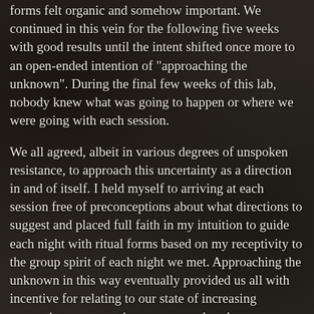forms felt organic and somehow important. We continued in this vein for the following five weeks with good results until the intent shifted once more to an open-ended intention of "approaching the unknown". During the final few weeks of this lab, nobody knew what was going to happen or where we were going with each session.
We all agreed, albeit in various degrees of unspoken resistance, to approach this uncertainty as a direction in and of itself. I held myself to arriving at each session free of preconceptions about what directions to suggest and placed full faith in my intuition to guide each night with ritual forms based on my receptivity to the group spirit of each night we met. Approaching the unknown in this way eventually provided us all with incentive for relating to our state of increasing uncertainty as a creative process, rather than any anxiety-ridden